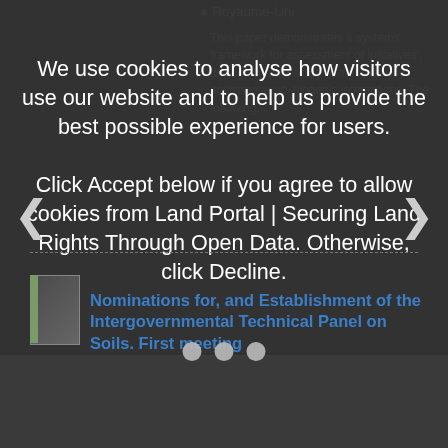Royaume-Uni
This paper demonstrates a systems framework for assessment of initiatives', through a case study of meso-scale, anthropogenic–biogenic interactions. The following...
We use cookies to analyse how visitors use our website and to help us provide the best possible experience for users.

Click Accept below if you agree to allow cookies from Land Portal | Securing Land Rights Through Open Data. Otherwise, click Decline.
Nominations for, and Establishment of the Intergovernmental Technical Panel on Soils. First meeting
Acceptez
Decline
France , Nigéria , États-Unis d'Amérique , Pérou , Maroc , Royaume-Uni , Canada , Iran , Éthiopie , République de Corée , Cameroun , Thaïlande , Slovaquie , Costa Rica , Japon , Italie , Argentine , Inde , Soudan , Nouvelle-Zélande , Chine , Mexique , Arabie saoudite